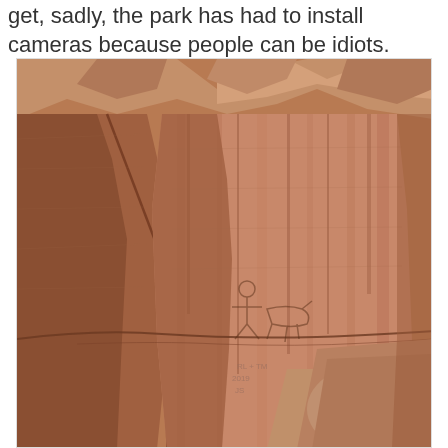get, sadly, the park has had to install cameras because people can be idiots.
[Figure (photo): Photograph of a large reddish-brown sandstone rock face/cliff with ancient petroglyphs. The rock surface shows vertical striations and layers, with darker desert varnish areas and lighter exposed stone. There appears to be some modern graffiti or inscriptions on the middle section of the rock face. A large boulder sits at the bottom right of the image.]